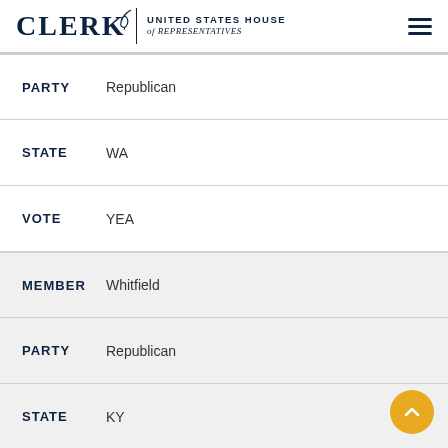CLERK United States House of Representatives
PARTY Republican
STATE WA
VOTE YEA
MEMBER Whitfield
PARTY Republican
STATE KY
VOTE YEA